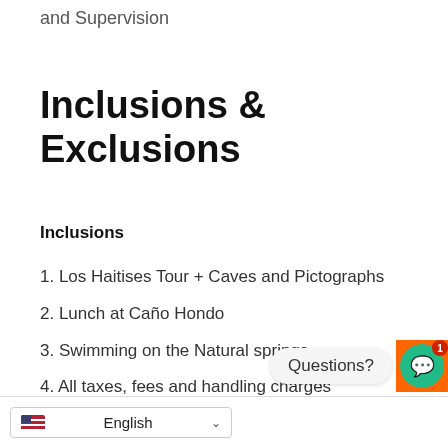and Supervision
Inclusions & Exclusions
Inclusions
1. Los Haitises Tour + Caves and Pictographs
2. Lunch at Caño Hondo
3. Swimming on the Natural springs
4. All taxes, fees and handling charges
5. Local taxes